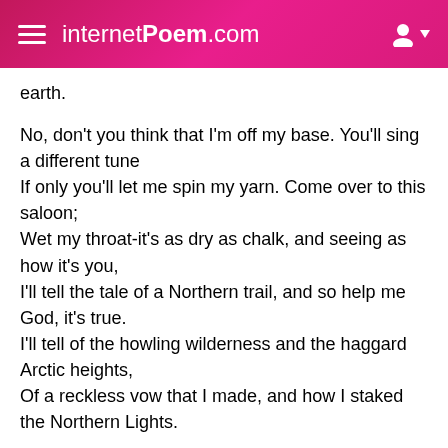internetPoem.com
earth.

No, don't you think that I'm off my base. You'll sing a different tune
If only you'll let me spin my yarn. Come over to this saloon;
Wet my throat-it's as dry as chalk, and seeing as how it's you,
I'll tell the tale of a Northern trail, and so help me God, it's true.
I'll tell of the howling wilderness and the haggard Arctic heights,
Of a reckless vow that I made, and how I staked the Northern Lights.

Remember the year of the Big Stampede and the trail of Ninety-eight,